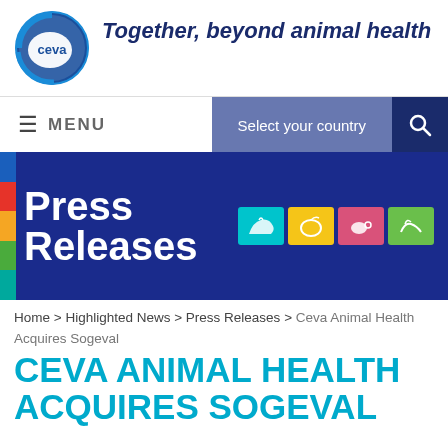[Figure (logo): Ceva animal health circular logo in blue with white bird/animal silhouette]
Together, beyond animal health
≡ MENU   Select your country  🔍
[Figure (infographic): Press Releases banner on dark blue background with colorful vertical bars on left and animal category icons (aqua, yellow, pink, green) on right]
Home > Highlighted News > Press Releases > Ceva Animal Health Acquires Sogeval
CEVA ANIMAL HEALTH ACQUIRES SOGEVAL